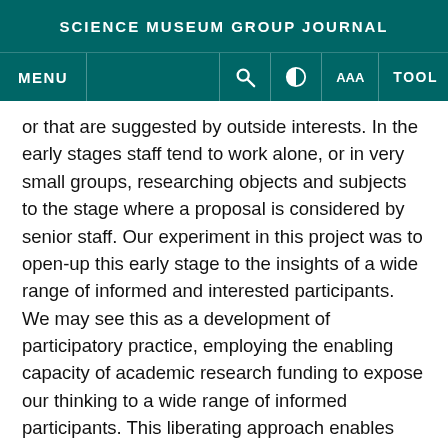SCIENCE MUSEUM GROUP JOURNAL
or that are suggested by outside interests. In the early stages staff tend to work alone, or in very small groups, researching objects and subjects to the stage where a proposal is considered by senior staff. Our experiment in this project was to open-up this early stage to the insights of a wide range of informed and interested participants. We may see this as a development of participatory practice, employing the enabling capacity of academic research funding to expose our thinking to a wide range of informed participants. This liberating approach enables informed risk-taking and opens up our ideas in ways that the museum might not otherwise choose.
The possibility of an exhibition on science and music was raised in 2012 with a proposal to marry objects